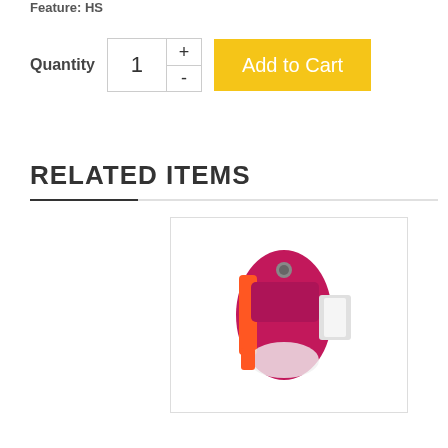Feature: HS
Quantity
1
Add to Cart
RELATED ITEMS
[Figure (photo): Pink and orange sports armband with white strap, shown against white background]